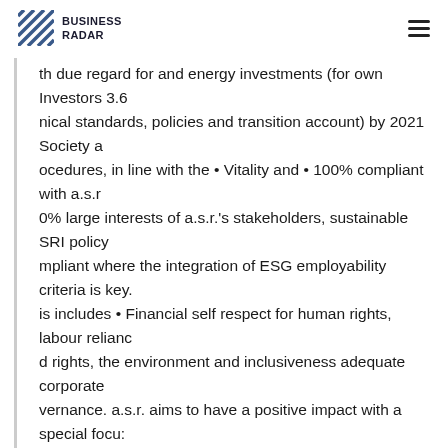BUSINESS RADAR
th due regard for and energy investments (for own Investors 3.6 nical standards, policies and transition account) by 2021 Society a ocedures, in line with the • Vitality and • 100% compliant with a.s.r 0% large interests of a.s.r.'s stakeholders, sustainable SRI policy mpliant where the integration of ESG employability criteria is key. is includes • Financial self respect for human rights, labour relianc d rights, the environment and inclusiveness adequate corporate vernance. a.s.r. aims to have a positive impact with a special focus the transition towards a low carbon and inclusive society. tigating and adapting to the • Climate change • Carbon footprint: % 93% Investors 2.4, 3.1, consequences of climate change and ergy of investment and Customers 3.2, 4.4 Taking into account th pacts transition mortgages portfolio (for Employees of climate-ated risks and • Solid financial own account) measured Society at portunities, taking measures framework in 2021 large to mitigate e effects of • Best financial • a.s.r. is working with climate change